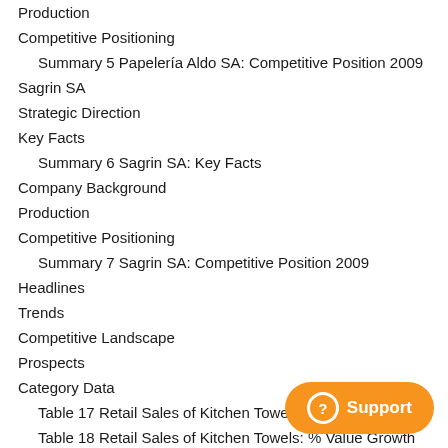Production
Competitive Positioning
Summary 5 Papelería Aldo SA: Competitive Position 2009
Sagrin SA
Strategic Direction
Key Facts
Summary 6 Sagrin SA: Key Facts
Company Background
Production
Competitive Positioning
Summary 7 Sagrin SA: Competitive Position 2009
Headlines
Trends
Competitive Landscape
Prospects
Category Data
Table 17 Retail Sales of Kitchen Towels: Va…
Table 18 Retail Sales of Kitchen Towels: % Value Growth